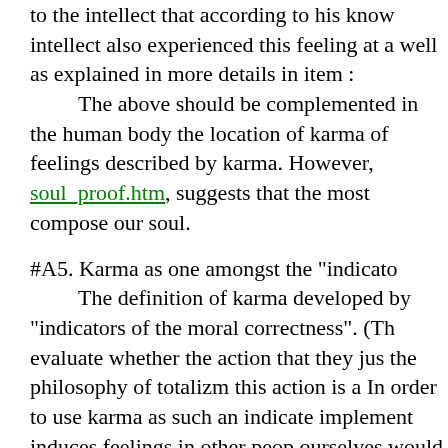to the intellect that according to his know intellect also experienced this feeling at a well as explained in more details in item The above should be complemented in the human body the location of karma of feelings described by karma. However soul_proof.htm, suggests that the most compose our soul.
#A5. Karma as one amongst the "indicato
The definition of karma developed by "indicators of the moral correctness". (Th evaluate whether the action that they jus the philosophy of totalizm this action is a In order to use karma as such an indicate implement induces feelings in other peop ourselves would not want to experience. ourselves would not want to experience, implementation of it. Notice, however, that the Hindu karm which is described in item #E1 of this we reason is that the Hindu karma is too am assessment as to whether a given action